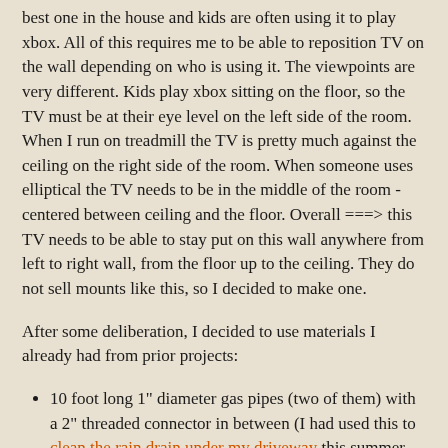best one in the house and kids are often using it to play xbox. All of this requires me to be able to reposition TV on the wall depending on who is using it. The viewpoints are very different. Kids play xbox sitting on the floor, so the TV must be at their eye level on the left side of the room. When I run on treadmill the TV is pretty much against the ceiling on the right side of the room. When someone uses elliptical the TV needs to be in the middle of the room - centered between ceiling and the floor. Overall ===> this TV needs to be able to stay put on this wall anywhere from left to right wall, from the floor up to the ceiling. They do not sell mounts like this, so I decided to make one.
After some deliberation, I decided to use materials I already had from prior projects:
10 foot long 1" diameter gas pipes (two of them) with a 2" threaded connector in between (I had used this to clean the rain drain under my driveway this summer and it has been sitting in garage ever since).
16 feet metal cable - this was the cable I